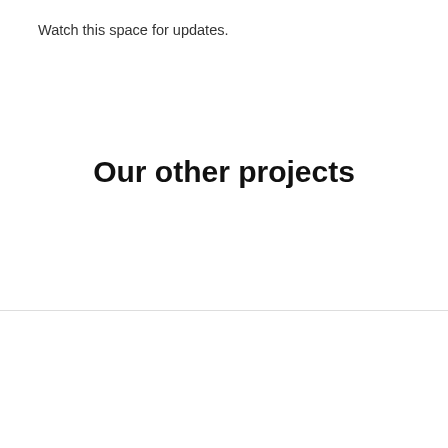Watch this space for updates.
Our other projects
We use cookies on our website to give you the most relevant experience. By clicking “Accept”, you consent to the use of all the cookies.
Cookie Settings
Accept